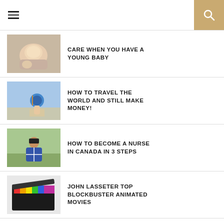Navigation header with hamburger menu and search icon
[Figure (photo): Sleeping newborn baby wrapped in blanket]
CARE WHEN YOU HAVE A YOUNG BABY
[Figure (photo): Hand holding a small globe against sky background]
HOW TO TRAVEL THE WORLD AND STILL MAKE MONEY!
[Figure (photo): Graduate in cap and gown celebrating outdoors]
HOW TO BECOME A NURSE IN CANADA IN 3 STEPS
[Figure (photo): Film clapperboard with colorful slate strips]
JOHN LASSETER TOP BLOCKBUSTER ANIMATED MOVIES